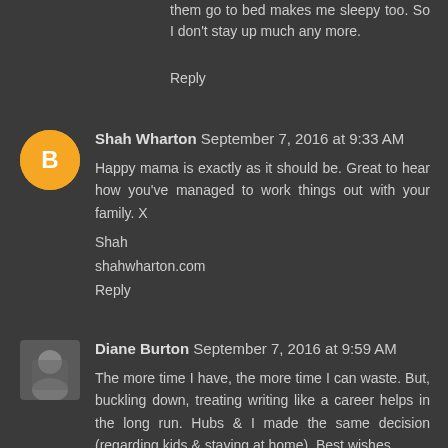them go to bed makes me sleepy too. So I don't stay up much any more.
Reply
Shah Wharton September 7, 2016 at 9:33 AM
Happy mama is exactly as it should be. Great to hear how you've managed to work things out with your family. X
Shah
shahwharton.com
Reply
Diane Burton September 7, 2016 at 9:59 AM
The more time I have, the more time I can waste. But, buckling down, treating writing like a career helps in the long run. Hubs & I made the same decision (regarding kids & staying at home). Best wishes.